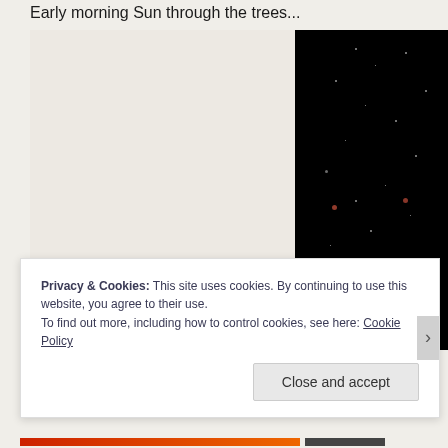Early morning Sun through the trees...
[Figure (photo): A split image: left half shows a light beige/cream textured background (possibly paper or bark), right half shows a dark near-black photograph of what appears to be a night sky or dark foliage with scattered small white and red light dots resembling stars or lights through trees.]
Privacy & Cookies: This site uses cookies. By continuing to use this website, you agree to their use.
To find out more, including how to control cookies, see here: Cookie Policy
Close and accept